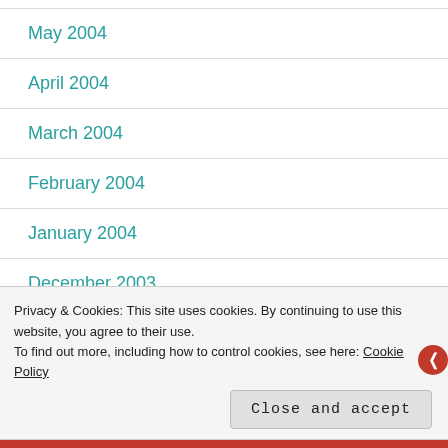May 2004
April 2004
March 2004
February 2004
January 2004
December 2003
November 2003
Privacy & Cookies: This site uses cookies. By continuing to use this website, you agree to their use.
To find out more, including how to control cookies, see here: Cookie Policy
Close and accept